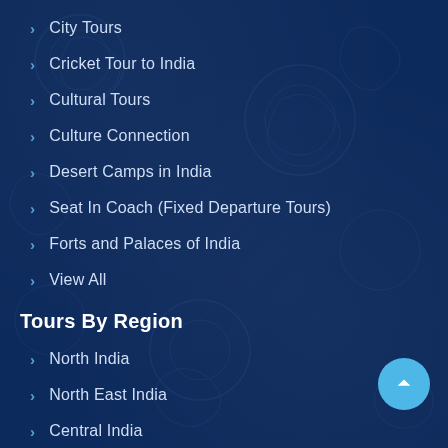City Tours
Cricket Tour to India
Cultural Tours
Culture Connection
Desert Camps in India
Seat In Coach (Fixed Departure Tours)
Forts and Palaces of India
View All
Tours By Region
North India
North East India
Central India
South India